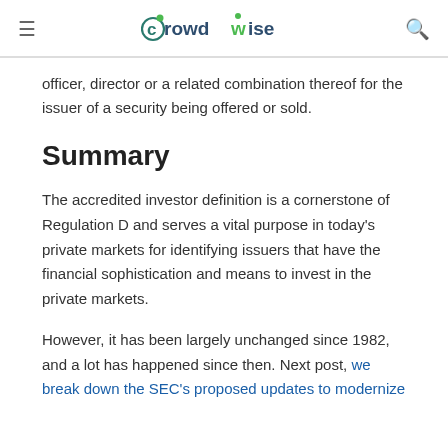crowdwise
officer, director or a related combination thereof for the issuer of a security being offered or sold.
Summary
The accredited investor definition is a cornerstone of Regulation D and serves a vital purpose in today's private markets for identifying issuers that have the financial sophistication and means to invest in the private markets.
However, it has been largely unchanged since 1982, and a lot has happened since then. Next post, we break down the SEC's proposed updates to modernize